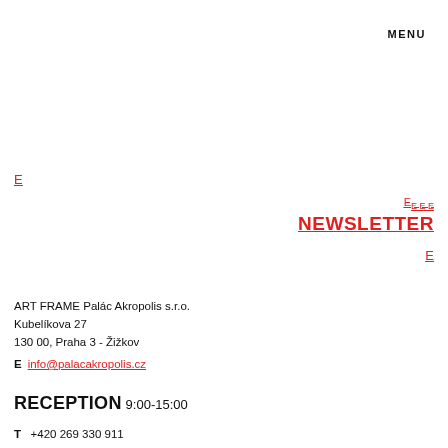MENU
E
E E E E
NEWSLETTER
E
ART FRAME Palác Akropolis s.r.o.
Kubelíkova 27
130 00, Praha 3 - Žižkov
E   info@palacakropolis.cz
RECEPTION 9:00-15:00
T   +420 269 330 911